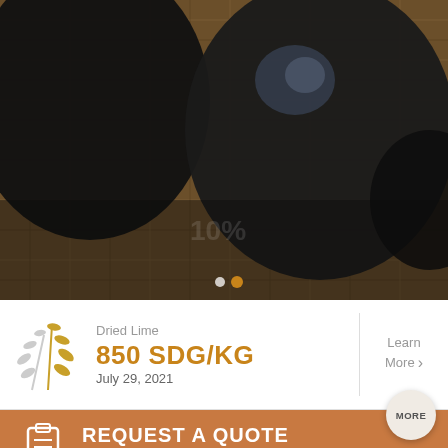[Figure (photo): Close-up photograph of dark spherical objects (dried limes/black limes) on burlap/hessian fabric background with carousel navigation dots overlay]
Dried Lime
850 SDG/KG
July 29, 2021
Learn More
REQUEST A QUOTE
Need a quote? It's easy, fast, and accurate. Just fill out the form below and we will rush it to you in no